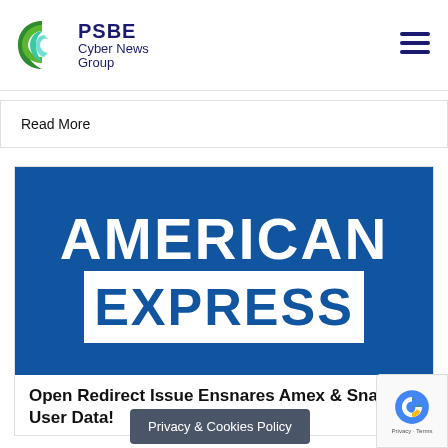PSBE Cyber News Group
Read More
[Figure (logo): American Express logo — white text on blue background showing AMERICAN EXPRESS in bold block letters]
Open Redirect Issue Ensnares Amex & Snap User Data!